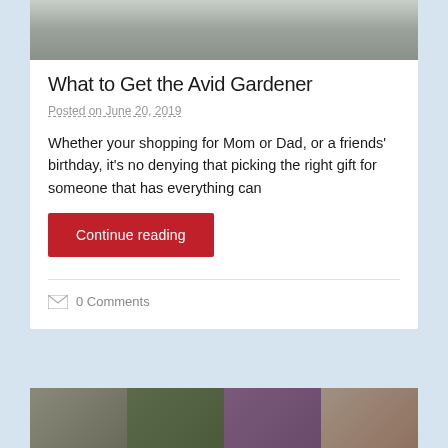[Figure (photo): Partial photo of garden-related object, stone texture visible at top of card]
What to Get the Avid Gardener
Posted on June 20, 2019
Whether your shopping for Mom or Dad, or a friends' birthday, it's no denying that picking the right gift for someone that has everything can
Continue reading
0 Comments
[Figure (photo): Grid of four thumbnail photos at the bottom of the page, showing garden and nature scenes]